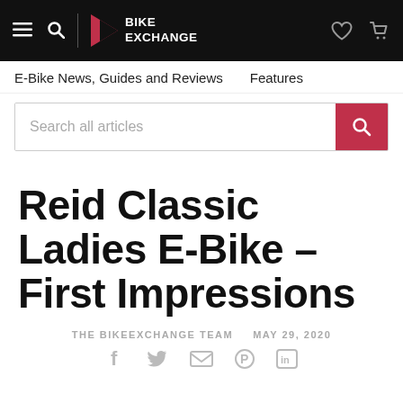BikeExchange — navigation bar with logo, hamburger, search, heart, and cart icons
E-Bike News, Guides and Reviews    Features
[Figure (screenshot): Search bar with placeholder text 'Search all articles' and a red search button]
Reid Classic Ladies E-Bike – First Impressions
THE BIKEEXCHANGE TEAM   MAY 29, 2020
[Figure (infographic): Social share icons: Facebook, Twitter, Email, Pinterest, LinkedIn]